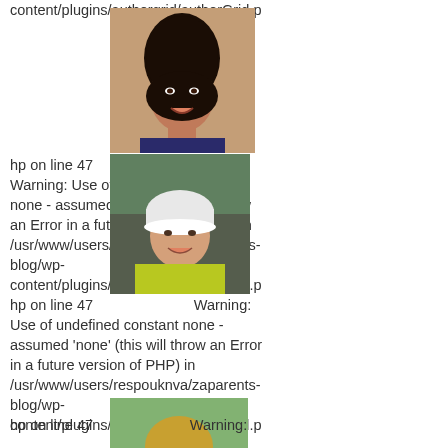content/plugins/authorgrid/authorGrid.p
[Figure (photo): Portrait photo of a woman with long dark hair, smiling]
hp on line 47   Warning: Use of undefined constant none - assumed 'none' (this will throw an Error in a future version of PHP) in /usr/www/users/respouknva/zaparents-blog/wp-content/plugins/authorgrid/authorGrid.p
[Figure (photo): Portrait photo of a person wearing a white cap and yellow jacket, outdoors]
hp on line 47   Warning: Use of undefined constant none - assumed 'none' (this will throw an Error in a future version of PHP) in /usr/www/users/respouknva/zaparents-blog/wp-content/plugins/authorgrid/authorGrid.p
[Figure (photo): Portrait photo of a woman with blonde hair, smiling]
hp on line 47   Warning: Use of undefined constant none -